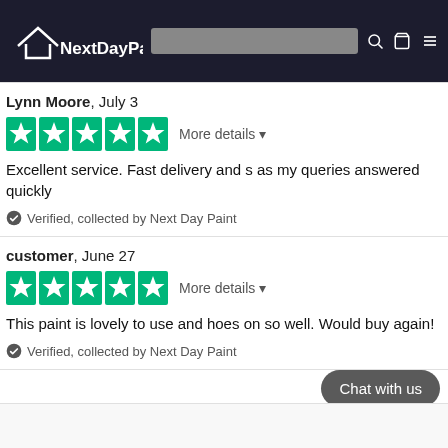NextDayPaint website header with logo, search bar, and navigation icons
Lynn Moore, July 3
[Figure (other): 5 green Trustpilot stars rating with More details dropdown]
Excellent service. Fast delivery and s as my queries answered quickly
✅ Verified, collected by Next Day Paint
customer, June 27
[Figure (other): 5 green Trustpilot stars rating with More details dropdown]
This paint is lovely to use and hoes on so well. Would buy again!
✅ Verified, collected by Next Day Paint